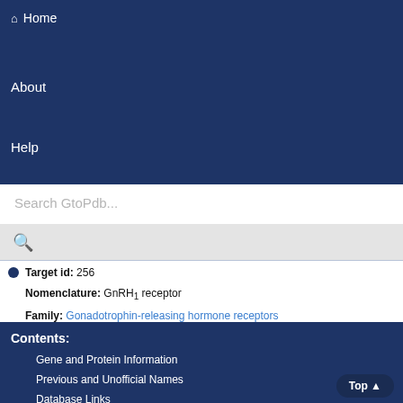🏠 Home
About
Help
Search GtoPdb...
Target id: 256
Nomenclature: GnRH1 receptor
Family: Gonadotrophin-releasing hormone receptors
Contents:
Gene and Protein Information
Previous and Unofficial Names
Database Links
Natural/Endogenous Ligands
Rank order lists